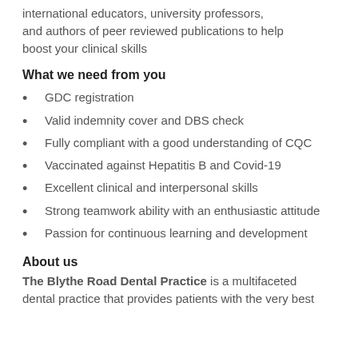international educators, university professors, and authors of peer reviewed publications to help boost your clinical skills
What we need from you
GDC registration
Valid indemnity cover and DBS check
Fully compliant with a good understanding of CQC
Vaccinated against Hepatitis B and Covid-19
Excellent clinical and interpersonal skills
Strong teamwork ability with an enthusiastic attitude
Passion for continuous learning and development
About us
The Blythe Road Dental Practice is a multifaceted dental practice that provides patients with the very best